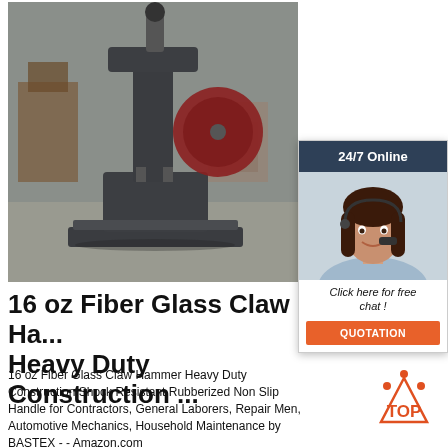[Figure (photo): Industrial power hammer / press machine in a workshop/factory setting. Large dark grey machine with flywheel visible on the right side, positioned on a flat base plate on a concrete floor.]
[Figure (infographic): Customer service chat widget showing '24/7 Online' header in dark navy, a photo of a smiling woman with headset, italic text 'Click here for free chat!', and an orange button labeled 'QUOTATION'.]
16 oz Fiber Glass Claw Ha... Heavy Duty Construction ...
16 oz Fiber Glass Claw Hammer Heavy Duty Construction Shock Resistant Rubberized Non Slip Handle for Contractors, General Laborers, Repair Men, Automotive Mechanics, Household Maintenance by BASTEX - - Amazon.com
[Figure (logo): TOP badge logo: orange/red triangle shape with text 'TOP' in bold orange letters inside it.]